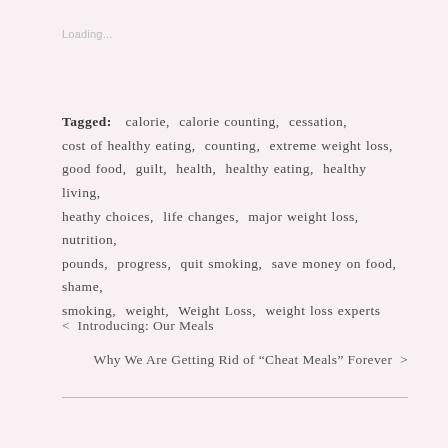Loading...
Tagged: calorie, calorie counting, cessation, cost of healthy eating, counting, extreme weight loss, good food, guilt, health, healthy eating, healthy living, heathy choices, life changes, major weight loss, nutrition, pounds, progress, quit smoking, save money on food, shame, smoking, weight, Weight Loss, weight loss experts
< Introducing: Our Meals
Why We Are Getting Rid of “Cheat Meals” Forever >